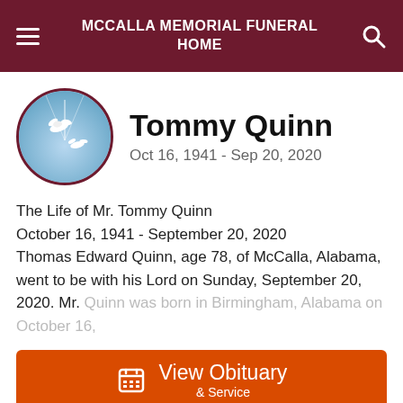MCCALLA MEMORIAL FUNERAL HOME
Tommy Quinn
Oct 16, 1941 - Sep 20, 2020
The Life of Mr. Tommy Quinn
October 16, 1941 - September 20, 2020
Thomas Edward Quinn, age 78, of McCalla, Alabama, went to be with his Lord on Sunday, September 20, 2020. Mr. Quinn was born in Birmingham, Alabama on October 16,
View Obituary & Service
Send Flowers
Share